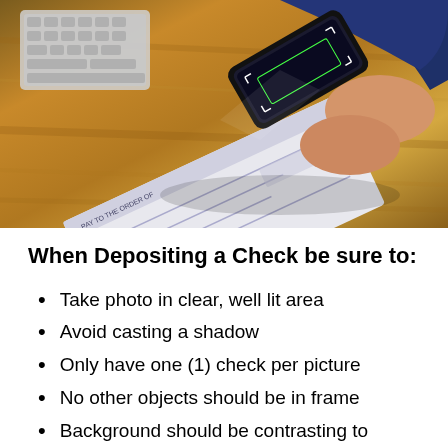[Figure (photo): Person holding a smartphone over a check/cheque on a wooden desk, with a keyboard visible in the background. The photo shows mobile check deposit being performed.]
When Depositing a Check be sure to:
Take photo in clear, well lit area
Avoid casting a shadow
Only have one (1) check per picture
No other objects should be in frame
Background should be contrasting to